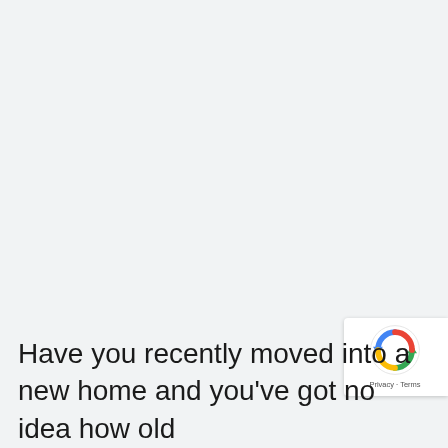Have you recently moved into a new home and you've got no idea how old...